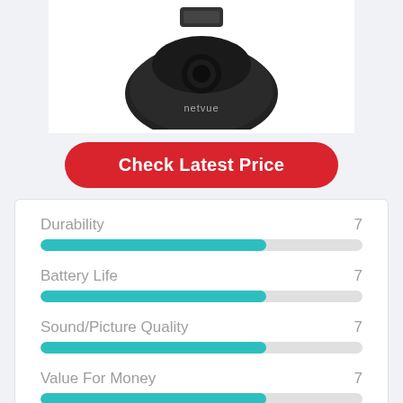[Figure (photo): Black Netvue security camera product photo on white background]
Check Latest Price
[Figure (bar-chart): Ratings]
Overall Score  7